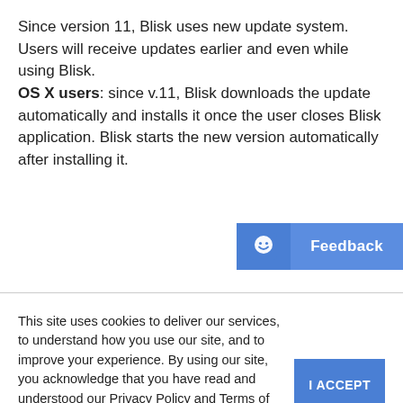Since version 11, Blisk uses new update system. Users will receive updates earlier and even while using Blisk.
OS X users: since v.11, Blisk downloads the update automatically and installs it once the user closes Blisk application. Blisk starts the new version automatically after installing it.
[Figure (other): Feedback button with smiley face icon on the right side of the page]
This site uses cookies to deliver our services, to understand how you use our site, and to improve your experience. By using our site, you acknowledge that you have read and understood our Privacy Policy and Terms of Use.